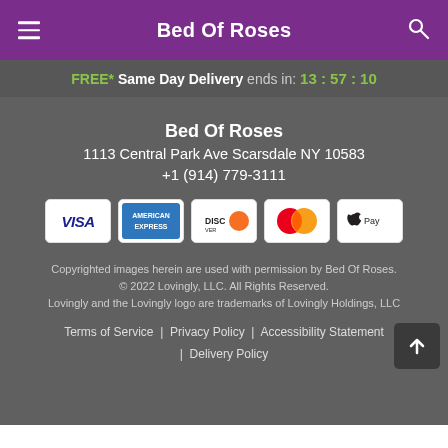Bed Of Roses
FREE* Same Day Delivery ends in: 13:57:10
Bed Of Roses
1113 Central Park Ave Scarsdale NY 10583
+1 (914) 779-3111
[Figure (other): Payment method icons: VISA, American Express, Discover, Mastercard, Apple Pay]
Copyrighted images herein are used with permission by Bed Of Roses.
© 2022 Lovingly, LLC. All Rights Reserved.
Lovingly and the Lovingly logo are trademarks of Lovingly Holdings, LLC
Terms of Service | Privacy Policy | Accessibility Statement | Delivery Policy